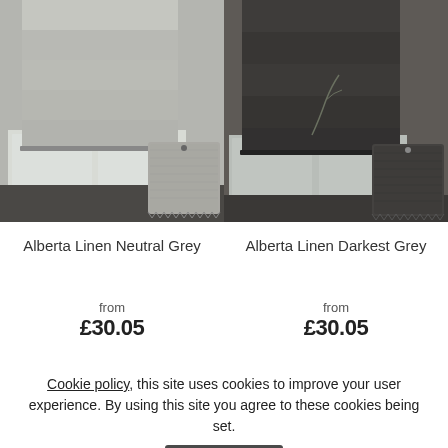[Figure (photo): Roman blind in Alberta Linen Neutral Grey fabric hanging in a kitchen window, with a fabric swatch shown in the corner]
[Figure (photo): Roman blind in Alberta Linen Darkest Grey fabric hanging in a room, with a fabric swatch shown in the corner]
Alberta Linen Neutral Grey
Alberta Linen Darkest Grey
from
£30.05
from
£30.05
Cookie policy, this site uses cookies to improve your user experience. By using this site you agree to these cookies being set.
Agree